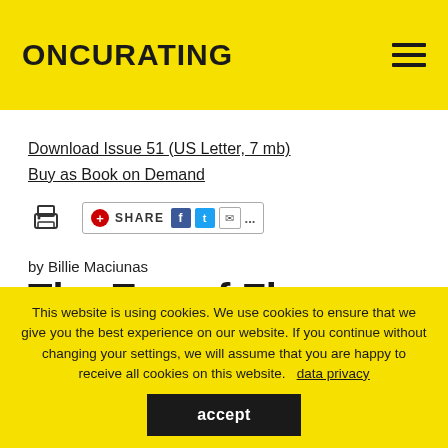ONCURATING
Download Issue 51 (US Letter, 7 mb)
Buy as Book on Demand
[Figure (other): Print icon and social share buttons (Share with Facebook, Twitter, email)]
by Billie Maciunas
The Eve of Fluxus: A fluxusconcin (excerpts)
This website is using cookies. We use cookies to ensure that we give you the best experience on our website. If you continue without changing your settings, we will assume that you are happy to receive all cookies on this website.  data privacy
accept